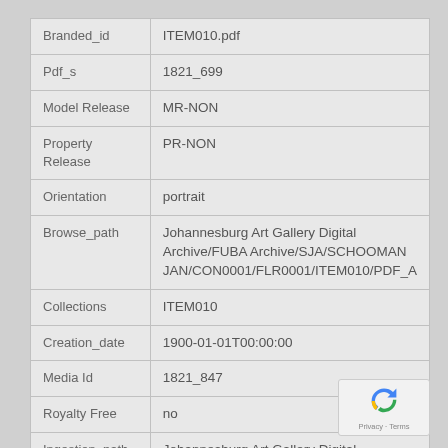| Field | Value |
| --- | --- |
| Branded_id | ITEM010.pdf |
| Pdf_s | 1821_699 |
| Model Release | MR-NON |
| Property Release | PR-NON |
| Orientation | portrait |
| Browse_path | Johannesburg Art Gallery Digital Archive/FUBA Archive/SJA/SCHOOMAN JAN/CON0001/FLR0001/ITEM010/PDF_A |
| Collections | ITEM010 |
| Creation_date | 1900-01-01T00:00:00 |
| Media Id | 1821_847 |
| Royalty Free | no |
| Ingestion_path | Johannesburg Art Gallery Digital Archive/FUBA |